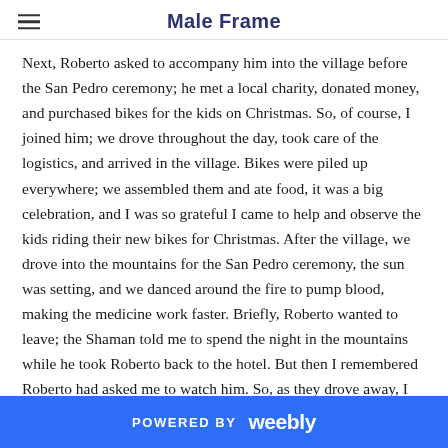Male Frame
Next, Roberto asked to accompany him into the village before the San Pedro ceremony; he met a local charity, donated money, and purchased bikes for the kids on Christmas. So, of course, I joined him; we drove throughout the day, took care of the logistics, and arrived in the village. Bikes were piled up everywhere; we assembled them and ate food, it was a big celebration, and I was so grateful I came to help and observe the kids riding their new bikes for Christmas. After the village, we drove into the mountains for the San Pedro ceremony, the sun was setting, and we danced around the fire to pump blood, making the medicine work faster. Briefly, Roberto wanted to leave; the Shaman told me to spend the night in the mountains while he took Roberto back to the hotel. But then I remembered Roberto had asked me to watch him. So, as they drove away, I ran down the hillside to stop the vehicle. At first, I thought I was paranoid because I was still high on the
POWERED BY weebly